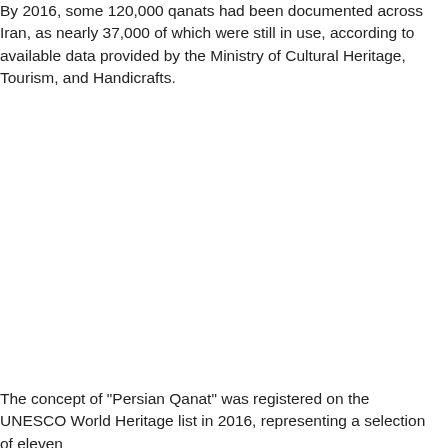By 2016, some 120,000 qanats had been documented across Iran, as nearly 37,000 of which were still in use, according to available data provided by the Ministry of Cultural Heritage, Tourism, and Handicrafts.
The concept of "Persian Qanat" was registered on the UNESCO World Heritage list in 2016, representing a selection of eleven